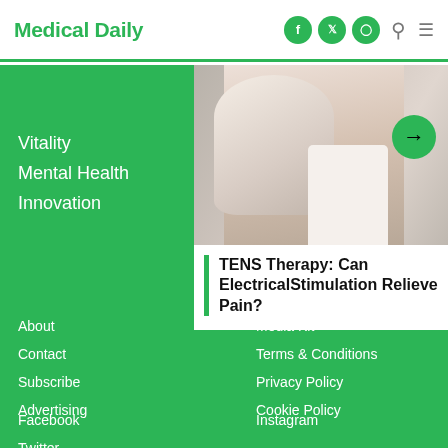Medical Daily
Vitality
Mental Health
Innovation
[Figure (photo): Woman touching neck in pain, sitting on bed in white t-shirt]
TENS Therapy: Can ElectricalStimulation Relieve Pain?
About
Contact
Subscribe
Advertising
Media Kit
Terms & Conditions
Privacy Policy
Cookie Policy
Facebook
Twitter
Instagram